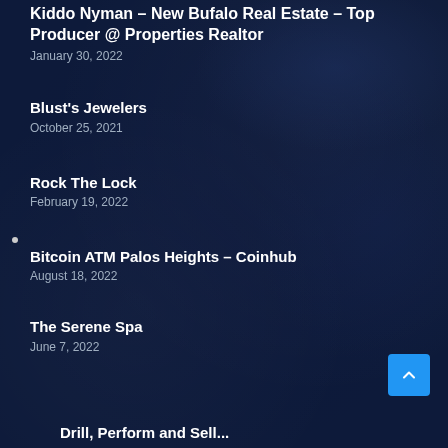Kiddo Nyman – New Bufalo Real Estate – Top Producer @ Properties Realtor
January 30, 2022
Blust's Jewelers
October 25, 2021
Rock The Lock
February 19, 2022
Bitcoin ATM Palos Heights – Coinhub
August 18, 2022
The Serene Spa
June 7, 2022
Drill, Perform and Sell...